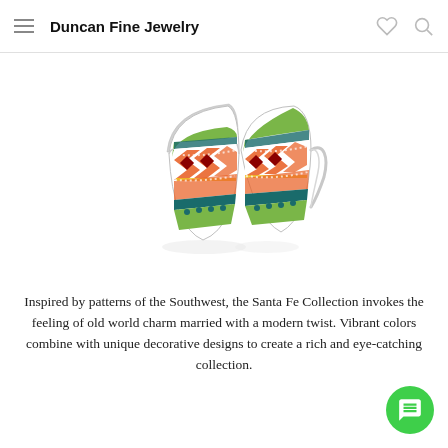Duncan Fine Jewelry
[Figure (photo): Two decorative hoop earrings with colorful Southwestern/Aztec enamel pattern in orange, red, teal, yellow, and white with silver metal edges and clip closure]
Inspired by patterns of the Southwest, the Santa Fe Collection invokes the feeling of old world charm married with a modern twist. Vibrant colors combine with unique decorative designs to create a rich and eye-catching collection.